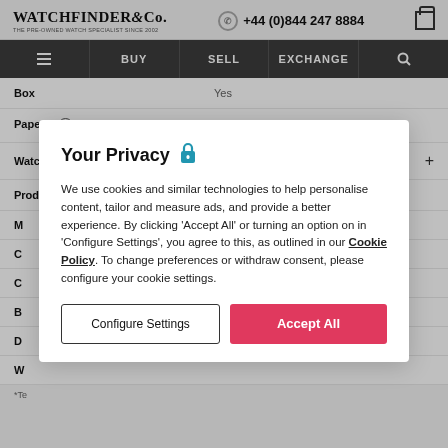WATCHFINDER & Co. THE PRE-OWNED WATCH SPECIALIST SINCE 2002 | +44 (0)844 247 8884
BUY | SELL | EXCHANGE | Search
| Field | Value |
| --- | --- |
| Box | Yes |
| Papers | Yes |
| Watchfinder warranty | 48 months* New |
| Product code | 192990 |
Your Privacy
We use cookies and similar technologies to help personalise content, tailor and measure ads, and provide a better experience. By clicking 'Accept All' or turning an option on in 'Configure Settings', you agree to this, as outlined in our Cookie Policy. To change preferences or withdraw consent, please configure your cookie settings.
Configure Settings | Accept All
*Te